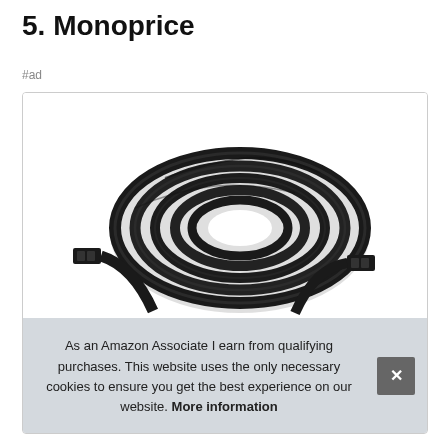5. Monoprice
#ad
[Figure (photo): A coiled black ethernet/network cable with RJ45 connectors visible at each end, photographed on a white background.]
As an Amazon Associate I earn from qualifying purchases. This website uses the only necessary cookies to ensure you get the best experience on our website. More information